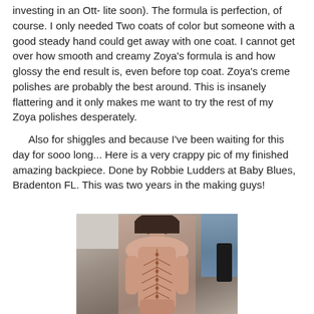investing in an Ott- lite soon). The formula is perfection, of course. I only needed Two coats of color but someone with a good steady hand could get away with one coat. I cannot get over how smooth and creamy Zoya's formula is and how glossy the end result is, even before top coat. Zoya's creme polishes are probably the best around. This is insanely flattering and it only makes me want to try the rest of my Zoya polishes desperately.
Also for shiggles and because I've been waiting for this day for sooo long... Here is a very crappy pic of my finished amazing backpiece. Done by Robbie Ludders at Baby Blues, Bradenton FL. This was two years in the making guys!
[Figure (photo): Photo of a person seen from behind showing a large back tattoo (spine/tree design), taken in a mirror selfie. Person has dark hair. Blue curtain visible in background on the right. Person is holding a dark phone.]